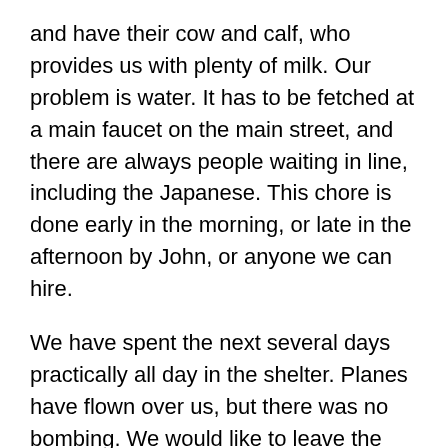and have their cow and calf, who provides us with plenty of milk. Our problem is water. It has to be fetched at a main faucet on the main street, and there are always people waiting in line, including the Japanese. This chore is done early in the morning, or late in the afternoon by John, or anyone we can hire.
We have spent the next several days practically all day in the shelter. Planes have flown over us, but there was no bombing. We would like to leave the city limits and go to the hills or to our farm in Barotac, but it is dangerous unless one has the proper contact with the USAFFE. We have heard that many of the people who left the college had been robbed when they reached the outskirts. Some lost everything they had.